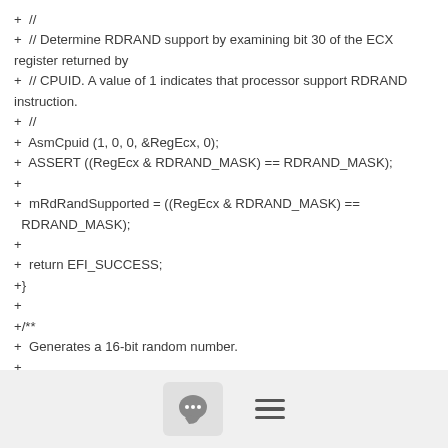+ //
+ // Determine RDRAND support by examining bit 30 of the ECX register returned by
+ // CPUID. A value of 1 indicates that processor support RDRAND instruction.
+ //
+ AsmCpuid (1, 0, 0, &RegEcx, 0);
+ ASSERT ((RegEcx & RDRAND_MASK) == RDRAND_MASK);
+
+ mRdRandSupported = ((RegEcx & RDRAND_MASK) == RDRAND_MASK);
+
+ return EFI_SUCCESS;
+}
+
+/**
+ Generates a 16-bit random number.
+
+ @param[out] Rand    Buffer pointer to store the 16-bit random
[Figure (other): Bottom UI bar with chat bubble button icon and hamburger menu icon]